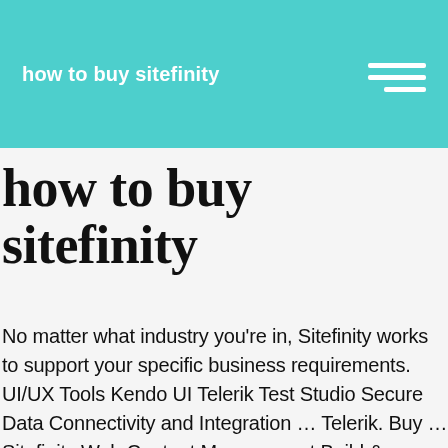how to buy sitefinity
how to buy sitefinity
No matter what industry you're in, Sitefinity works to support your specific business requirements. UI/UX Tools Kendo UI Telerik Test Studio Secure Data Connectivity and Integration … Telerik. Buy … Sitefinity Web Content Management Build & manage best-in-class digital experiences and sites. Meanwhile, marketers can create engaging, personalized content across sites and channels without reliance on IT. This flexibility allows them to manage their brand or business while using the best eCommerce practices. Training sessions delivered by senior Sitefinity consultant. Synx is compatible